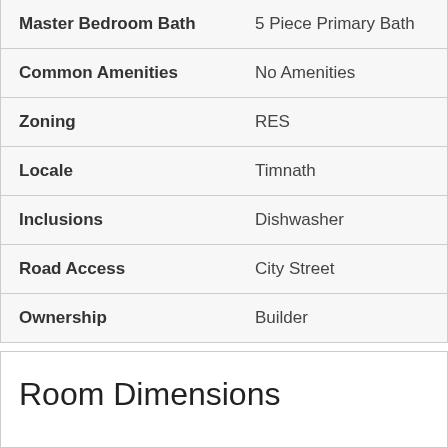| Field | Value |
| --- | --- |
| Master Bedroom Bath | 5 Piece Primary Bath |
| Common Amenities | No Amenities |
| Zoning | RES |
| Locale | Timnath |
| Inclusions | Dishwasher |
| Road Access | City Street |
| Ownership | Builder |
Room Dimensions